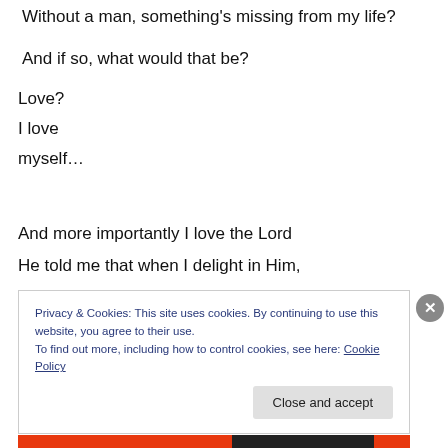Without a man, something's missing from my life?
And if so, what would that be?
Love?
I love
myself…
And more importantly I love the Lord
He told me that when I delight in Him,
Privacy & Cookies: This site uses cookies. By continuing to use this website, you agree to their use.
To find out more, including how to control cookies, see here: Cookie Policy
Close and accept